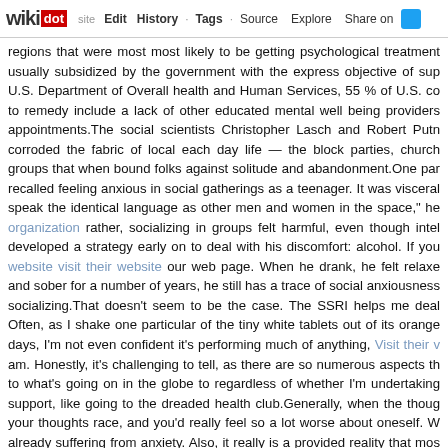wikidot | site | Edit | History | Tags | Source | Explore | Share on [Twitter]
regions that were most most likely to be getting psychological treatment usually subsidized by the government with the express objective of sup U.S. Department of Overall health and Human Services, 55 % of U.S. co to remedy include a lack of other educated mental well being providers appointments.The social scientists Christopher Lasch and Robert Putn corroded the fabric of local each day life — the block parties, church groups that when bound folks against solitude and abandonment.One par recalled feeling anxious in social gatherings as a teenager. It was visceral speak the identical language as other men and women in the space," he organization rather, socializing in groups felt harmful, even though intel developed a strategy early on to deal with his discomfort: alcohol. If you website visit their website our web page. When he drank, he felt relaxe and sober for a number of years, he still has a trace of social anxiousness socializing.That doesn't seem to be the case. The SSRI helps me deal Often, as I shake one particular of the tiny white tablets out of its orange days, I'm not even confident it's performing much of anything, Visit their v am. Honestly, it's challenging to tell, as there are so numerous aspects th to what's going on in the globe to regardless of whether I'm undertaking support, like going to the dreaded health club.Generally, when the thoug your thoughts race, and you'd really feel so a lot worse about oneself. W already suffering from anxiety. Also, it really is a provided reality that mos also be suffering from depression. Nevertheless, it really is greatest that suffering from so that you would also start to comprehend oneself a lot m sorts of anxiety will be discussed.In a new write-up in the Canadian Website researchers examine the therapeutic effects of these substance from addiction to depression, anxiousness and PTSD. The escalating s country's mental health method. Most individuals who kill themselves ha they in no way get an official diagnosis.If you have anxiousness, visit The only choice. Nonetheless the UK's National Institute for Clinical Excelle